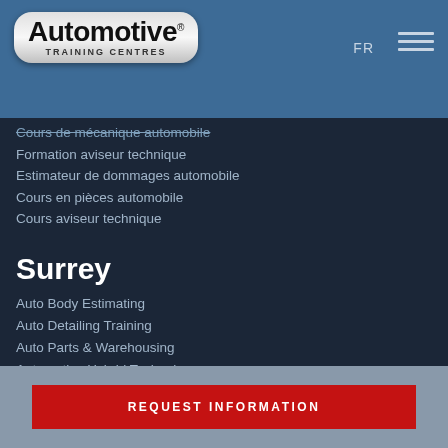[Figure (logo): Automotive Training Centres logo — silver pill-shaped badge with bold black text 'Automotive' and smaller 'TRAINING CENTRES' subtitle]
Cours de mécanique automobile
Formation aviseur technique
Estimateur de dommages automobile
Cours en pièces automobile
Cours aviseur technique
Surrey
Auto Body Estimating
Auto Detailing Training
Auto Parts & Warehousing
Automotive Hybrid Technology
Automotive Service Consultant
Automotive Service Operations Specialist
Automotive Service Technician
Automotive Technology
REQUEST INFORMATION